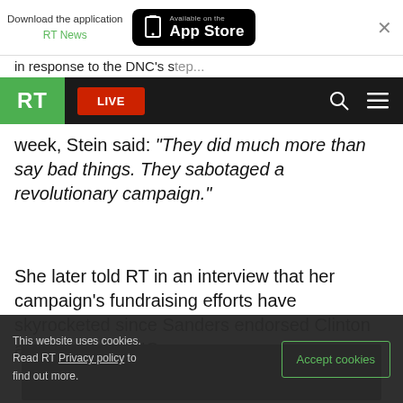[Figure (screenshot): App Store download banner with RT News branding and close button]
in response to the DNC's...
[Figure (screenshot): RT website navigation bar with green RT logo, red LIVE button, search and menu icons]
week, Stein said: "They did much more than say bad things. They sabotaged a revolutionary campaign."
She later told RT in an interview that her campaign's fundraising efforts have skyrocketed since Sanders endorsed Clinton ahead of the DNC.
[Figure (photo): Dark image placeholder]
This website uses cookies. Read RT Privacy policy to find out more. Accept cookies